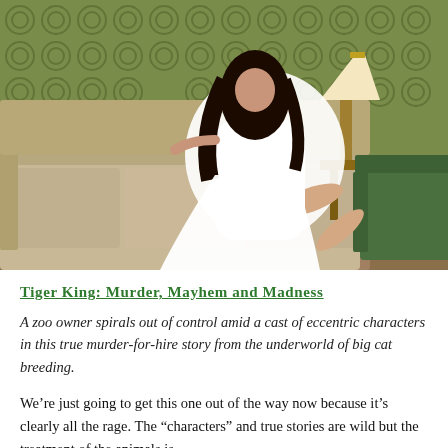[Figure (photo): A woman in a flowing white dress sits dramatically on a worn beige sofa in a vintage room with green geometric patterned wallpaper. A green armchair and a wooden side table with a lamp are visible. The setting has a retro 1970s aesthetic.]
Tiger King: Murder, Mayhem and Madness
A zoo owner spirals out of control amid a cast of eccentric characters in this true murder-for-hire story from the underworld of big cat breeding.
We’re just going to get this one out of the way now because it’s clearly all the rage. The “characters” and true stories are wild but the treatment of the animals is